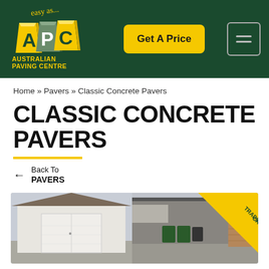[Figure (logo): Australian Paving Centre logo with APC letters and 'easy as...' tagline on dark green header background]
Get A Price
Home » Pavers » Classic Concrete Pavers
CLASSIC CONCRETE PAVERS
Back To PAVERS
[Figure (photo): Classic concrete pavers product image showing a house with garage on left and another property on right, with a yellow diagonal 'TRADIES CHOICE' banner in top-right corner]